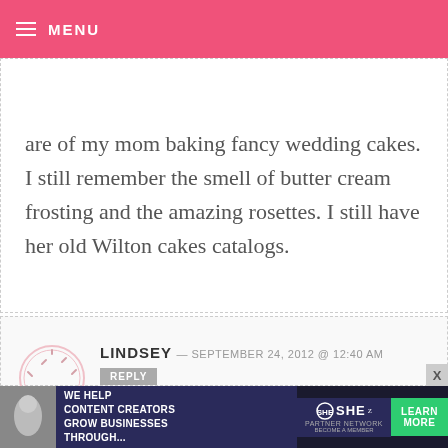MENU
are of my mom baking fancy wedding cakes. I still remember the smell of butter cream frosting and the amazing rosettes. I still have her old Wilton cakes catalogs.
LINDSEY — SEPTEMBER 24, 2012 @ 12:40 AM
The Christmas my husband and I were engaged we baked and decorated sugar cookies for all of our friends. This has
[Figure (illustration): Cookie/sprinkle circle avatar icon in light pink]
[Figure (photo): Advertisement banner: WE HELP CONTENT CREATORS GROW BUSINESSES THROUGH... SHE PARTNER NETWORK LEARN MORE BECOME A MEMBER]